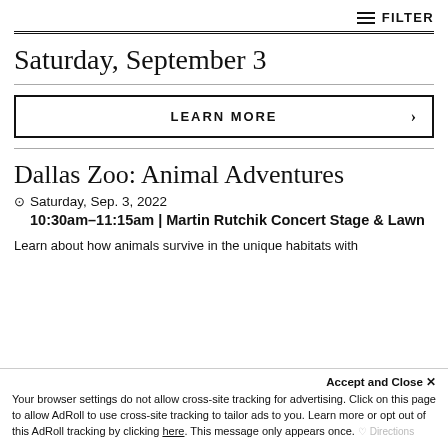FILTER
Saturday, September 3
LEARN MORE >
Dallas Zoo: Animal Adventures
Saturday, Sep. 3, 2022
10:30am–11:15am | Martin Rutchik Concert Stage & Lawn
Learn about how animals survive in the unique habitats with
Accept and Close ✕
Your browser settings do not allow cross-site tracking for advertising. Click on this page to allow AdRoll to use cross-site tracking to tailor ads to you. Learn more or opt out of this AdRoll tracking by clicking here. This message only appears once.